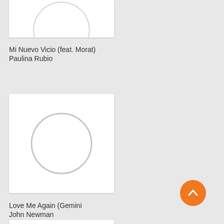[Figure (illustration): Album art placeholder for Mi Nuevo Vicio - white card with partial circle at top, cropped]
Mi Nuevo Vicio (feat. Morat)
Paulina Rubio
[Figure (illustration): Album art placeholder for Love Me Again - white card with gray circle outline in center]
Love Me Again (Gemini
John Newman
[Figure (illustration): Album art placeholder partially visible at bottom]
[Figure (other): Orange back-to-top button with upward chevron arrow in bottom right corner]